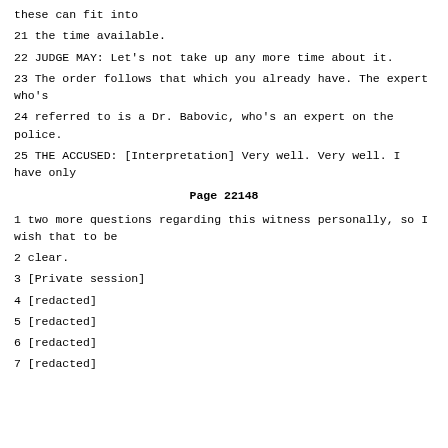these can fit into
21 the time available.
22 JUDGE MAY: Let's not take up any more time about it.
23 The order follows that which you already have. The expert who's
24 referred to is a Dr. Babovic, who's an expert on the police.
25 THE ACCUSED: [Interpretation] Very well. Very well. I have only
Page 22148
1 two more questions regarding this witness personally, so I wish that to be
2 clear.
3 [Private session]
4 [redacted]
5 [redacted]
6 [redacted]
7 [redacted]